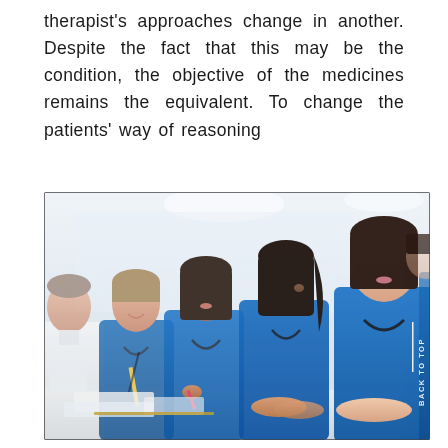therapist's approaches change in another. Despite the fact that this may be the condition, the objective of the medicines remains the equivalent. To change the patients' way of reasoning
[Figure (photo): A group of medical students or nurses in blue scrubs sitting at a table in a classroom or lecture setting, attentively listening. They are wearing stethoscopes. One person in a white coat is visible on the left. The text 'BACK TO TOP' with a vertical line appears on the right side of the image.]